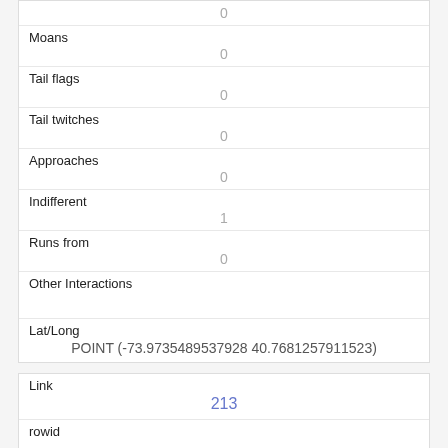| 0 |
| Moans | 0 |
| Tail flags | 0 |
| Tail twitches | 0 |
| Approaches | 0 |
| Indifferent | 1 |
| Runs from | 0 |
| Other Interactions |  |
| Lat/Long | POINT (-73.9735489537928 40.7681257911523) |
| Link | 213 |
| rowid |  |